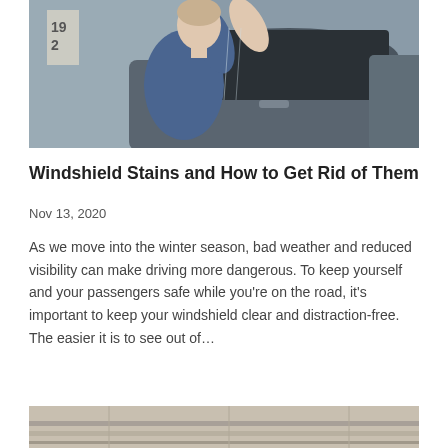[Figure (photo): A man in a blue t-shirt applying window tint film to a car window in a garage setting]
Windshield Stains and How to Get Rid of Them
Nov 13, 2020
As we move into the winter season, bad weather and reduced visibility can make driving more dangerous. To keep yourself and your passengers safe while you’re on the road, it’s important to keep your windshield clear and distraction-free. The easier it is to see out of…
[Figure (photo): Partial view of a car exterior, cropped at bottom of page]